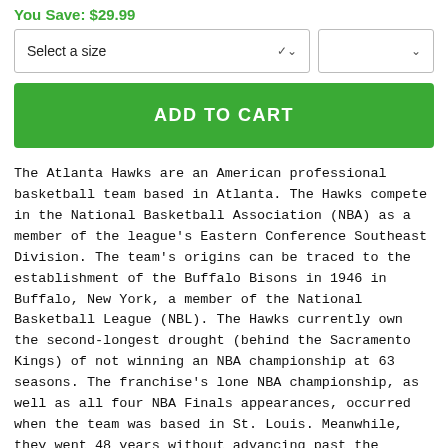You Save: $29.99
Select a size
ADD TO CART
The Atlanta Hawks are an American professional basketball team based in Atlanta. The Hawks compete in the National Basketball Association (NBA) as a member of the league's Eastern Conference Southeast Division. The team's origins can be traced to the establishment of the Buffalo Bisons in 1946 in Buffalo, New York, a member of the National Basketball League (NBL). The Hawks currently own the second-longest drought (behind the Sacramento Kings) of not winning an NBA championship at 63 seasons. The franchise's lone NBA championship, as well as all four NBA Finals appearances, occurred when the team was based in St. Louis. Meanwhile, they went 48 years without advancing past the second round of the playoffs in any format, until finally breaking through in 2015.
PRODUCT DETAILS